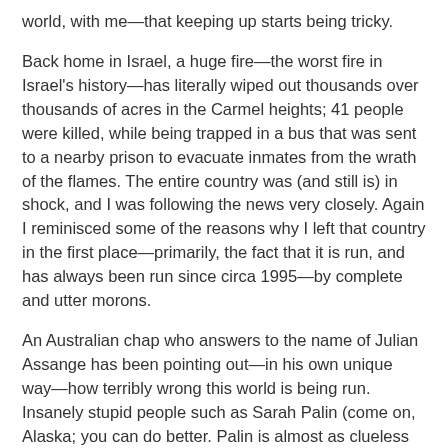world, with me—that keeping up starts being tricky.
Back home in Israel, a huge fire—the worst fire in Israel's history—has literally wiped out thousands over thousands of acres in the Carmel heights; 41 people were killed, while being trapped in a bus that was sent to a nearby prison to evacuate inmates from the wrath of the flames. The entire country was (and still is) in shock, and I was following the news very closely. Again I reminisced some of the reasons why I left that country in the first place—primarily, the fact that it is run, and has always been run since circa 1995—by complete and utter morons.
An Australian chap who answers to the name of Julian Assange has been pointing out—in his own unique way—how terribly wrong this world is being run. Insanely stupid people such as Sarah Palin (come on, Alaska; you can do better. Palin is almost as clueless as that guy… what's his name… Barrack O-something) call to assassinate this guy when all he did was to put a huge honking mirror in front of world politics. What the f**k people; how about cutting the Prozac's in half, for better absorption?